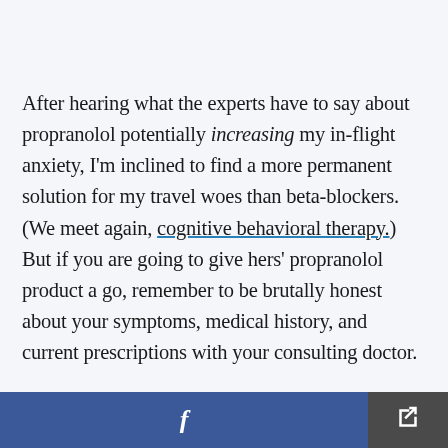After hearing what the experts have to say about propranolol potentially increasing my in-flight anxiety, I'm inclined to find a more permanent solution for my travel woes than beta-blockers. (We meet again, cognitive behavioral therapy.) But if you are going to give hers' propranolol product a go, remember to be brutally honest about your symptoms, medical history, and current prescriptions with your consulting doctor.

To find a mental health professional in your area,
Facebook share | Share